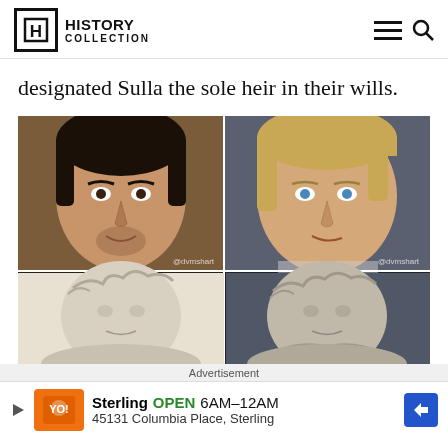History Collection
designated Sulla the sole heir in their wills.
[Figure (photo): Four-panel image showing reconstructed faces of two ancient Roman figures (top: colorized portraits of dark-haired and blonde men, bottom: marble busts of the same figures). Watermarks read @dvmshart.]
Advertisement
Sterling OPEN 6AM–12AM 45131 Columbia Place, Sterling